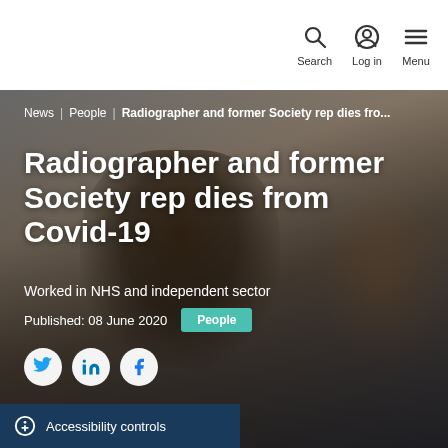Search | Log in | Menu
News | People | Radiographer and former Society rep dies fro...
Radiographer and former Society rep dies from Covid-19
Worked in NHS and independent sector
Published: 08 June 2020
People
[Figure (photo): Photo of a man in a blue suit and grey tie gesturing with his hand, speaking; people visible in background]
Accessibility controls